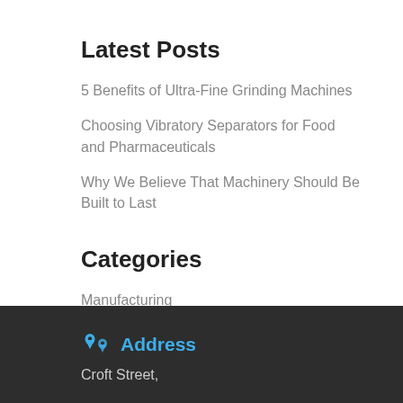Latest Posts
5 Benefits of Ultra-Fine Grinding Machines
Choosing Vibratory Separators for Food and Pharmaceuticals
Why We Believe That Machinery Should Be Built to Last
Categories
Manufacturing
Ultra-fine Grinding
Address
Croft Street,